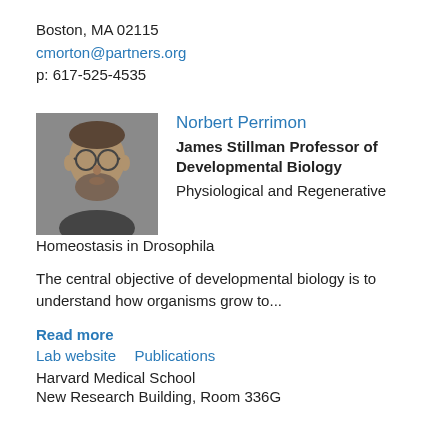Boston, MA 02115
cmorton@partners.org
p: 617-525-4535
[Figure (photo): Headshot photo of Norbert Perrimon, a man with glasses and beard]
Norbert Perrimon
James Stillman Professor of Developmental Biology
Physiological and Regenerative Homeostasis in Drosophila
The central objective of developmental biology is to understand how organisms grow to...
Read more
Lab website   Publications
Harvard Medical School
New Research Building, Room 336G